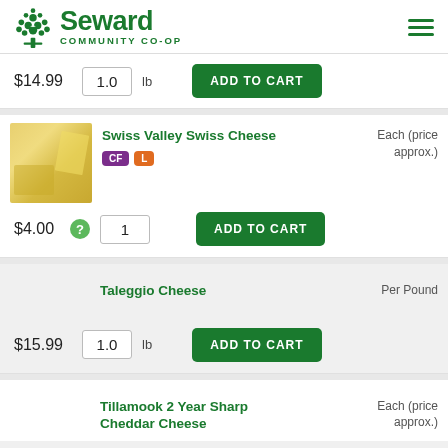Seward Community Co-op
$14.99  1.0 lb  ADD TO CART
[Figure (photo): Photo of Swiss Valley Swiss Cheese - pale yellow cheese slices]
Swiss Valley Swiss Cheese  CF  L  Each (price approx.)
$4.00  1  ADD TO CART
Taleggio Cheese  Per Pound
$15.99  1.0 lb  ADD TO CART
Tillamook 2 Year Sharp Cheddar Cheese  Each (price approx.)